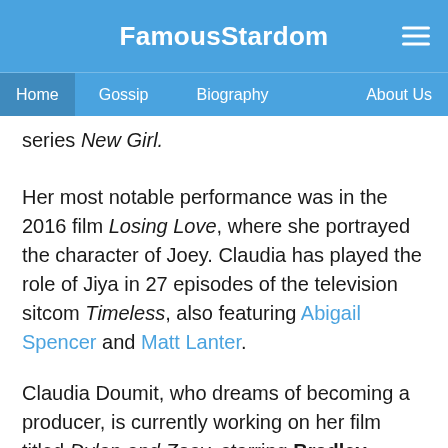FamousStardom
Home  Gossip  Biography  About Us
series New Girl.
Her most notable performance was in the 2016 film Losing Love, where she portrayed the character of Joey. Claudia has played the role of Jiya in 27 episodes of the television sitcom Timeless, also featuring Abigail Spencer and Matt Lanter.
Claudia Doumit, who dreams of becoming a producer, is currently working on her film titled Dylan and Zoey, starring Bradley Wayne James and Blake Scott Lewis.